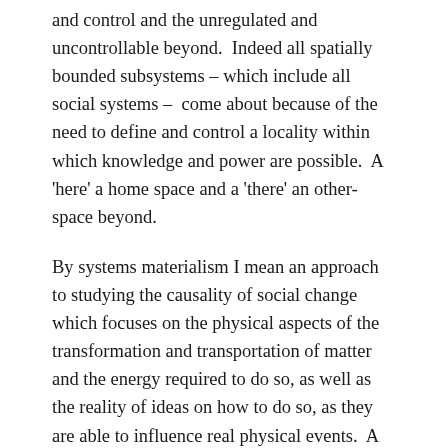and control and the unregulated and uncontrollable beyond.  Indeed all spatially bounded subsystems – which include all social systems –  come about because of the need to define and control a locality within which knowledge and power are possible.  A 'here' a home space and a 'there' an other-space beyond.
By systems materialism I mean an approach to studying the causality of social change which focuses on the physical aspects of the transformation and transportation of matter and the energy required to do so, as well as the reality of ideas on how to do so, as they are able to influence real physical events.  A systems approach recognises the multiple and intersecting causalities, and the systems of feedback which exacerbate change or slow it.  A systems approach also provides a conceptual approach which is applicable at all